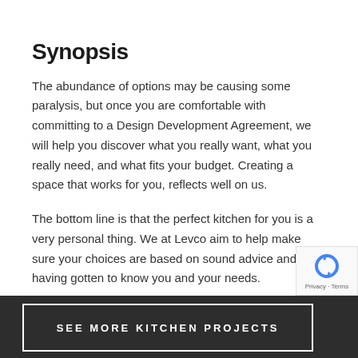Synopsis
The abundance of options may be causing some paralysis, but once you are comfortable with committing to a Design Development Agreement, we will help you discover what you really want, what you really need, and what fits your budget. Creating a space that works for you, reflects well on us.
The bottom line is that the perfect kitchen for you is a very personal thing. We at Levco aim to help make sure your choices are based on sound advice and having gotten to know you and your needs.
SEE MORE KITCHEN PROJECTS